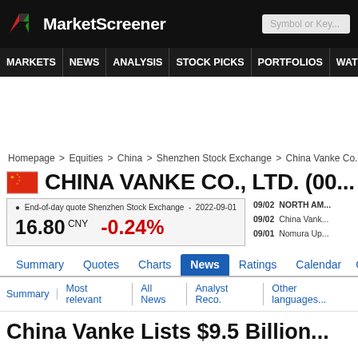MarketScreener — Symbol or Key...
MARKETS | NEWS | ANALYSIS | STOCK PICKS | PORTFOLIOS | WATCHLI...
Homepage > Equities > China > Shenzhen Stock Exchange > China Vanke Co., Lt...
🇨🇳 CHINA VANKE CO., LTD. (00...
End-of-day quote Shenzhen Stock Exchange - 2022-09-01
16.80 CNY   -0.24%
09/02 NORTH AM...
09/02 China Vank...
09/01 Nomura Up...
Summary | Quotes | Charts | News | Ratings | Calendar | Company...
Summary | Most relevant | All News | Analyst Reco. | Other languages...
China Vanke Lists $9.5 Billion...